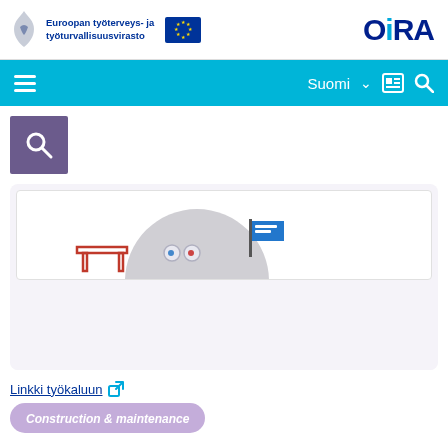Euroopan työterveys- ja työturvallisuusvirasto | OiRA
Suomi
[Figure (screenshot): Search icon box (purple background with magnifying glass)]
[Figure (illustration): Cartoon illustration of two robot/owl-like characters at a desk with a sign, partially visible]
Linkki työkaluun
Construction & maintenance